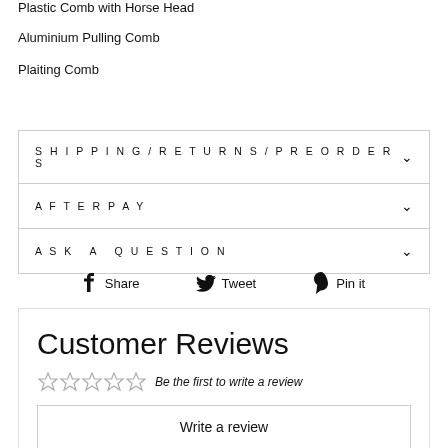Plastic Comb with Horse Head
Aluminium Pulling Comb
Plaiting Comb
SHIPPING/RETURNS/PREORDERS
AFTERPAY
ASK A QUESTION
Share  Tweet  Pin it
Customer Reviews
Be the first to write a review
Write a review